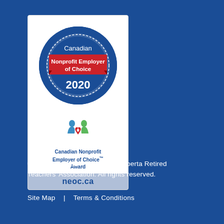[Figure (logo): Canadian Nonprofit Employer of Choice 2020 Award badge from neoc.ca, featuring a blue gear/seal shape with 'Canadian' text, a red banner reading 'Nonprofit Employer of Choice', '2020' in white, and below the seal a CNEOC logo with two figures forming a heart, text 'Canadian Nonprofit Employer of Choice™ Award', and 'neoc.ca' on a grey footer strip.]
© Copyright 2014 – 2022 The Alberta Retired Teachers' Association. All rights reserved.
Site Map   |   Terms & Conditions